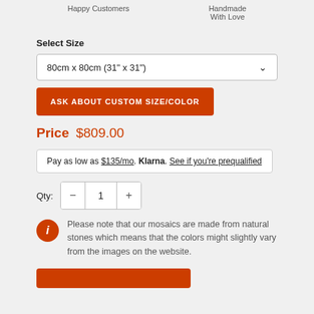Happy Customers
Handmade With Love
Select Size
80cm x 80cm (31" x 31")
ASK ABOUT CUSTOM SIZE/COLOR
Price  $809.00
Pay as low as $135/mo. Klarna. See if you're prequalified
Qty: 1
Please note that our mosaics are made from natural stones which means that the colors might slightly vary from the images on the website.